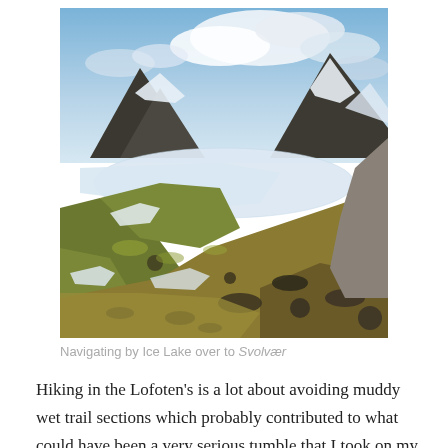[Figure (photo): Mountain landscape with snow-covered peaks, a frozen lake in the middle distance, green mossy hillside in the foreground with scattered rocks, and a partly cloudy sky. Taken in the Lofoten Islands, Norway.]
Navigating by Ice Lake over to Svolvær
Hiking in the Lofoten's is a lot about avoiding muddy wet trail sections which probably contributed to what could have been a very serious tumble that I took on my descent into Svolvær. A misstep caused me to take a couple of somersaults ending up without anything broken except my